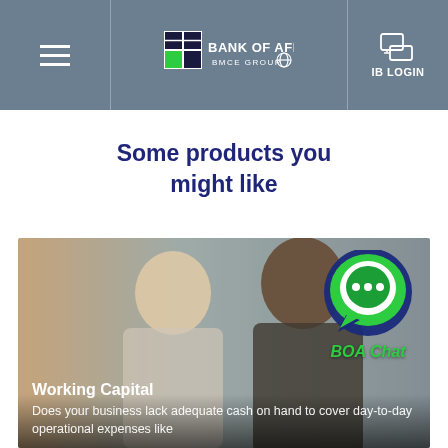Bank of Africa BMCE Group — IB LOGIN
Some products you might like
[Figure (photo): Photo of two business people working together, overlaid with BOA Chat logo (green speech bubble icon with ellipsis) and green italic text 'BOA Chat']
Working Capital
Does your business lack adequate cash on hand to cover day-to-day operational expenses like